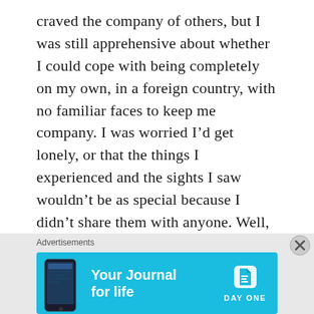craved the company of others, but I was still apprehensive about whether I could cope with being completely on my own, in a foreign country, with no familiar faces to keep me company. I was worried I'd get lonely, or that the things I experienced and the sights I saw wouldn't be as special because I didn't share them with anyone. Well, I needn't have been concerned. Being on your own gives you time to really soak in the experiences you have, to reflect on your day, to savour moments that you don't have to share, that are made just for you. And if you do feel like some company, then there are plenty of apps/social media sites that help you find other travellers in your area, or you can simply strike up a
Advertisements
[Figure (screenshot): Advertisement banner for 'Day One' journal app on a blue background. Shows a phone with the app, text 'Your Journal for life', and the Day One logo.]